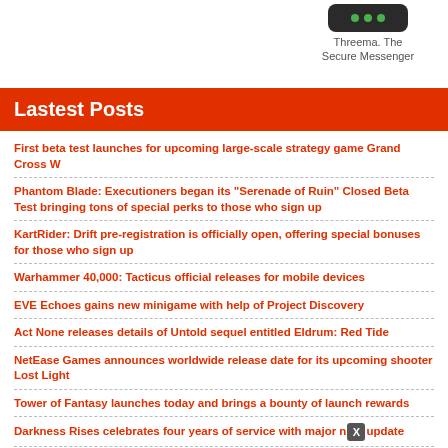[Figure (logo): Threema app icon - dark rounded rectangle with three green dots]
Threema. The Secure Messenger
Lastest Posts
First beta test launches for upcoming large-scale strategy game Grand Cross W
Phantom Blade: Executioners began its "Serenade of Ruin" Closed Beta Test bringing tons of special perks to those who sign up
KartRider: Drift pre-registration is officially open, offering special bonuses for those who sign up
Warhammer 40,000: Tacticus official releases for mobile devices
EVE Echoes gains new minigame with help of Project Discovery
Act None releases details of Untold sequel entitled Eldrum: Red Tide
NetEase Games announces worldwide release date for its upcoming shooter Lost Light
Tower of Fantasy launches today and brings a bounty of launch rewards
Darkness Rises celebrates four years of service with major new update
Football Club Management 23 launches today and offers a unique look at football management